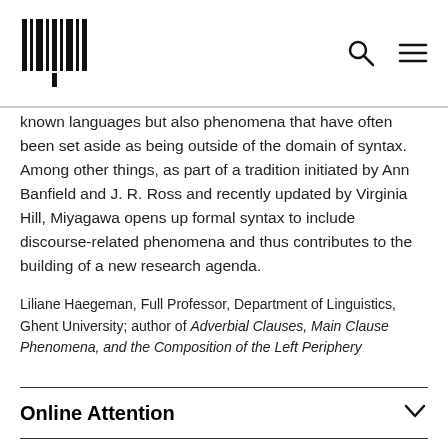[MIT Press logo] [Search icon] [Menu icon]
known languages but also phenomena that have often been set aside as being outside of the domain of syntax. Among other things, as part of a tradition initiated by Ann Banfield and J. R. Ross and recently updated by Virginia Hill, Miyagawa opens up formal syntax to include discourse-related phenomena and thus contributes to the building of a new research agenda.
Liliane Haegeman, Full Professor, Department of Linguistics, Ghent University; author of Adverbial Clauses, Main Clause Phenomena, and the Composition of the Left Periphery
Online Attention
Mouseover for Online Attention Data